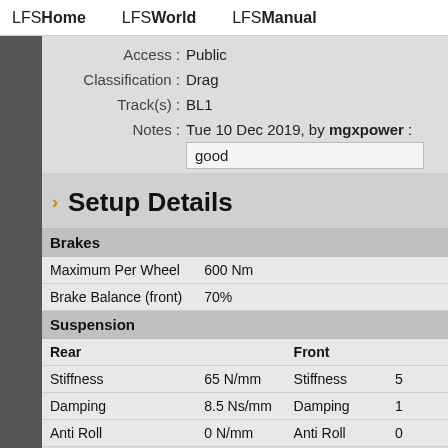LFSHome   LFSWorld   LFSManual
Access : Public
Classification : Drag
Track(s) : BL1
Notes : Tue 10 Dec 2019, by mgxpower :
good
› Setup Details
|  |  | Front |  |
| --- | --- | --- | --- |
| Brakes |  |  |  |
| Maximum Per Wheel | 600 Nm |  |  |
| Brake Balance (front) | 70% |  |  |
| Suspension |  |  |  |
| Rear |  | Front |  |
| Stiffness | 65 N/mm | Stiffness | 5 |
| Damping | 8.5 Ns/mm | Damping | 1 |
| Anti Roll | 0 N/mm | Anti Roll | 0 |